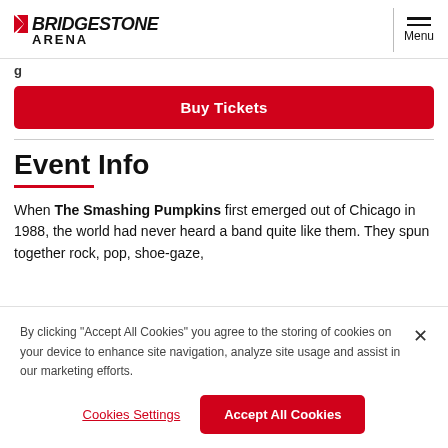BRIDGESTONE ARENA
Buy Tickets
Event Info
When The Smashing Pumpkins first emerged out of Chicago in 1988, the world had never heard a band quite like them. They spun together rock, pop, shoe-gaze,
By clicking "Accept All Cookies" you agree to the storing of cookies on your device to enhance site navigation, analyze site usage and assist in our marketing efforts.
Cookies Settings
Accept All Cookies